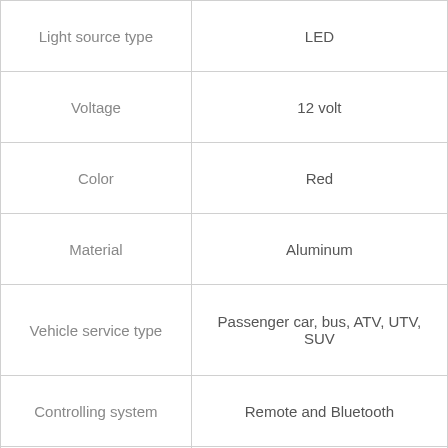| Property | Value |
| --- | --- |
| Light source type | LED |
| Voltage | 12 volt |
| Color | Red |
| Material | Aluminum |
| Vehicle service type | Passenger car, bus, ATV, UTV, SUV |
| Controlling system | Remote and Bluetooth |